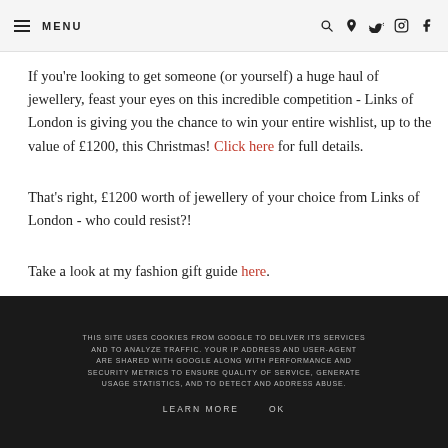MENU [search] [pinterest] [twitter] [instagram] [facebook]
If you're looking to get someone (or yourself) a huge haul of jewellery, feast your eyes on this incredible competition - Links of London is giving you the chance to win your entire wishlist, up to the value of £1200, this Christmas! Click here for full details.

That's right, £1200 worth of jewellery of your choice from Links of London - who could resist?!

Take a look at my fashion gift guide here.
THIS SITE USES COOKIES FROM GOOGLE TO DELIVER ITS SERVICES AND TO ANALYZE TRAFFIC. YOUR IP ADDRESS AND USER-AGENT ARE SHARED WITH GOOGLE ALONG WITH PERFORMANCE AND SECURITY METRICS TO ENSURE QUALITY OF SERVICE, GENERATE USAGE STATISTICS, AND TO DETECT AND ADDRESS ABUSE. LEARN MORE OK